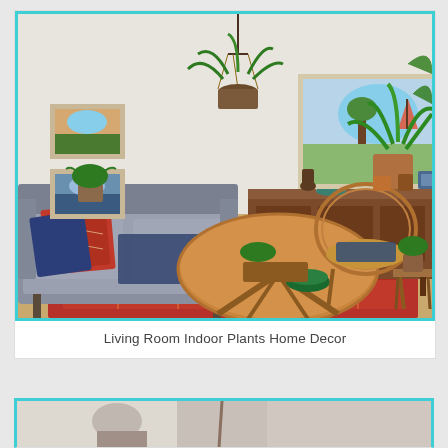[Figure (photo): A bohemian-style living room with indoor plants, a gray sofa with colorful patterned pillows, a round wooden coffee table, a rattan chair, a wooden sideboard with decorative items, framed paintings on the wall, and a vibrant red patterned rug on the floor. Plants hang from the ceiling and sit in pots around the room. The image has a teal/turquoise border.]
Living Room Indoor Plants Home Decor
[Figure (photo): Partial view of another room/image at the bottom of the page, partially cut off.]